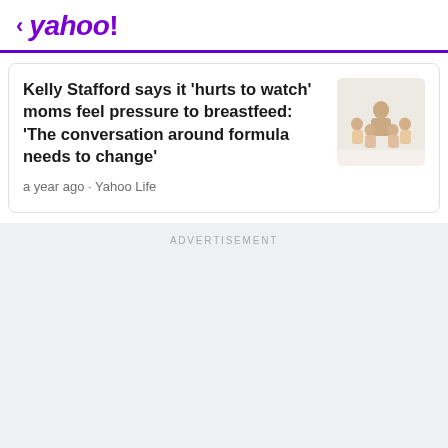< yahoo!
Kelly Stafford says it 'hurts to watch' moms feel pressure to breastfeed: 'The conversation around formula needs to change'
a year ago · Yahoo Life
[Figure (photo): Thumbnail photo of a woman with several children, likely a family photo with white background]
ADVERTISEMENT
Advertisement
[Figure (illustration): Social media share buttons: Facebook (blue circle with f), Twitter (light blue circle with bird), Email (purple circle with envelope)]